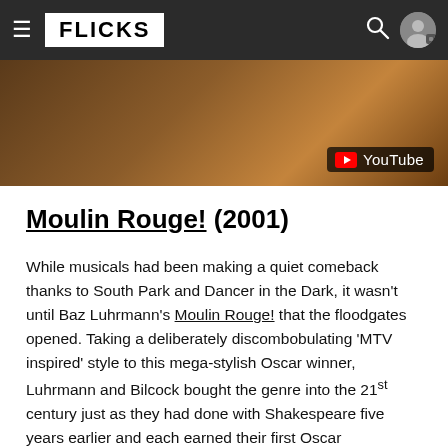FLICKS
[Figure (screenshot): YouTube video thumbnail showing a dark brownish film scene with a YouTube play button badge in the bottom right corner]
Moulin Rouge! (2001)
While musicals had been making a quiet comeback thanks to South Park and Dancer in the Dark, it wasn't until Baz Luhrmann's Moulin Rouge! that the floodgates opened. Taking a deliberately discombobulating 'MTV inspired' style to this mega-stylish Oscar winner, Luhrmann and Bilcock bought the genre into the 21st century just as they had done with Shakespeare five years earlier and each earned their first Oscar nominations as a result. In a film full of incredibly memorable musical sequences, it's the operatic El Tango de Roxanne number that continues to inspire fevered analysis.